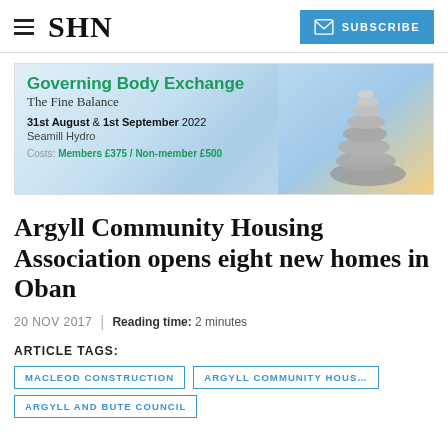SHN | SUBSCRIBE
[Figure (infographic): Advertisement banner for Governing Body Exchange event: 'The Fine Balance', 31st August & 1st September 2022, Seamill Hydro. Costs: Members £375 / Non-member £500. Features stacked stones image and SHARE logo.]
Argyll Community Housing Association opens eight new homes in Oban
20 NOV 2017 | Reading time: 2 minutes
ARTICLE TAGS:
MACLEOD CONSTRUCTION
ARGYLL COMMUNITY HOUS...
ARGYLL AND BUTE COUNCIL